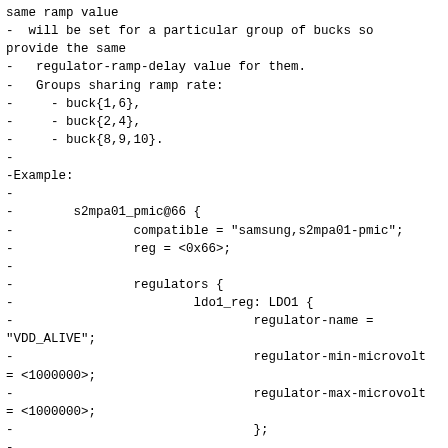same ramp value
-  will be set for a particular group of bucks so provide the same
-   regulator-ramp-delay value for them.
-   Groups sharing ramp rate:
-     - buck{1,6},
-     - buck{2,4},
-     - buck{8,9,10}.
-
-Example:
-
-        s2mpa01_pmic@66 {
-                compatible = "samsung,s2mpa01-pmic";
-                reg = <0x66>;
-
-                regulators {
-                        ldo1_reg: LDO1 {
-                                regulator-name =
"VDD_ALIVE";
-                                regulator-min-microvolt
= <1000000>;
-                                regulator-max-microvolt
= <1000000>;
-                                };
-
-                        ldo2_reg: LDO2 {
-                                regulator-name =
"VDDQ_MMC2";
-                                regulator-min-microvolt
= <2800000>;
-                                regulator-max-microvolt